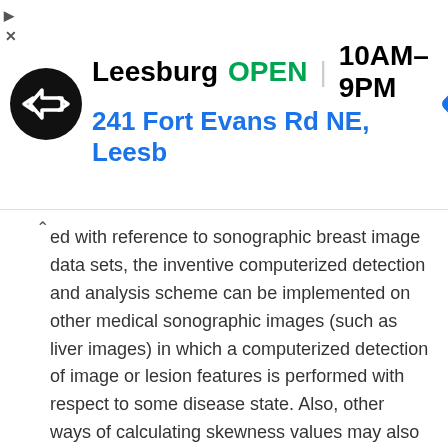[Figure (screenshot): Advertisement banner for a store in Leesburg showing logo, OPEN status, hours 10AM-9PM, and address 241 Fort Evans Rd NE, Leesburg]
ed with reference to sonographic breast image data sets, the inventive computerized detection and analysis scheme can be implemented on other medical sonographic images (such as liver images) in which a computerized detection of image or lesion features is performed with respect to some disease state. Also, other ways of calculating skewness values may also be employed, without departing from the scope of the invention. Of course, the particular hardware or software implementation of the invention may be varied while still remaining within the scope of the present invention. It is therefore to be understood that within the scope of the appended claims and their equivalents, the invention may be practiced otherwise than as specifically described herein.